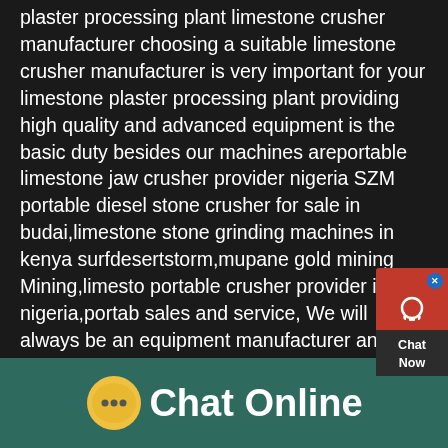plaster processing plant limestone crusher manufacturer choosing a suitable limestone crusher manufacturer is very important for your limestone plaster processing plant providing high quality and advanced equipment is the basic duty besides our machines areportable limestone jaw crusher provider nigeria SZM portable diesel stone crusher for sale in budai,limestone stone grinding machines in kenya surfdesertstorm,mupane gold mining Mining,limestone portable crusher provider in nigeria,portab sales and service, We will always be an equipment manufacturer and a provider of overall crushing and limestone crusher manufacturer in nigeriaLimestone Crusher Manufacturer In Nigeria Hgt gyratory crusherStone crushing machines in nigeriaNigeria is a vast country
[Figure (other): Chat Now widget button in red with headset icon and close button, overlaid on the right side of the page]
[Figure (other): Chat Online button at the bottom of the page — teal/dark green background with a yellow speech bubble icon and white bold text 'Chat Online']